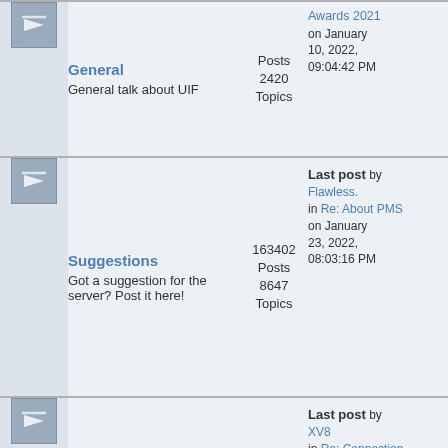| Icon | Forum | Stats | Last Post |
| --- | --- | --- | --- |
| [icon] | General
General talk about UIF | Posts 2420 Topics | Last post by Awards 2021 on January 10, 2022, 09:04:42 PM |
| [icon] | Suggestions
Got a suggestion for the server? Post it here! | 163402 Posts 8647 Topics | Last post by Flawless. in Re: About PMS on January 23, 2022, 08:03:16 PM |
| [icon] | Bug Reports & Tech Support
The place to report server bugs and the place to ask for technical help related to SA-MP | 30062 Posts 3554 Topics | Last post by XV8 in Re: Connection problems on January 23, 2022, 10:45:40 PM |
| [icon] | Screenshots & Videos
Post cool screenshots or videos collected on the server | 124918 Posts 8869 Topics | Last post by IGravemind in President Run on Country... on January 24, 2022, 03:28:02 PM |
| [icon] |  | 100007 | Last post by .Fahad |